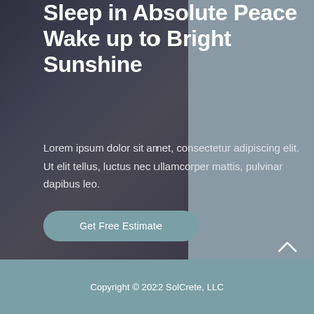[Figure (photo): Dark bedroom photo on the left side, with a grayish-blue solid color panel on the right. Together they form the hero section background.]
Sleep in Absolute Peace Wake up to Bright Sunshine
Lorem ipsum dolor sit amet, consectetur adipiscing elit. Ut elit tellus, luctus nec ullamcorper mattis, pulvinar dapibus leo.
Get Free Estimate
Copyright © 2022 SolCrete, LLC